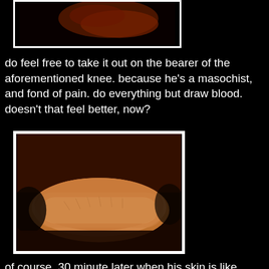[Figure (photo): Partial photo at top of page showing a dark reddish shape against a black background, appears to be a body part]
do feel free to take it out on the bearer of the aforementioned knee.  because he's a masochist, and fond of pain.  do everything but draw blood.  doesn't that feel better, now?
[Figure (photo): Close-up photo of what appears to be a human forearm/wrist with skin texture visible, warm orange/yellow tones, on a dark background]
of course, 30 minute later when his skin is like magic-healing, you'll be disappointed.  but still.  worth it!